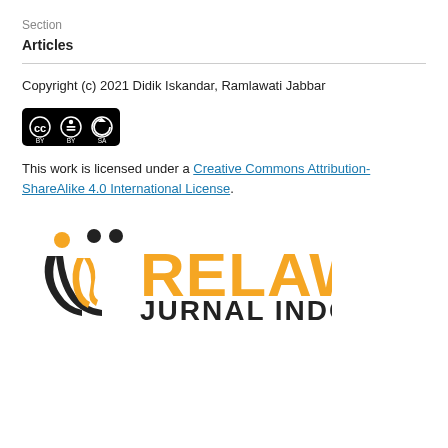Section
Articles
Copyright (c) 2021 Didik Iskandar, Ramlawati Jabbar
[Figure (logo): Creative Commons Attribution-ShareAlike license badge showing CC BY SA icons in a black rounded rectangle]
This work is licensed under a Creative Commons Attribution-ShareAlike 4.0 International License.
[Figure (logo): Relawan Jurnal Indonesia logo with orange and black text and person icon]